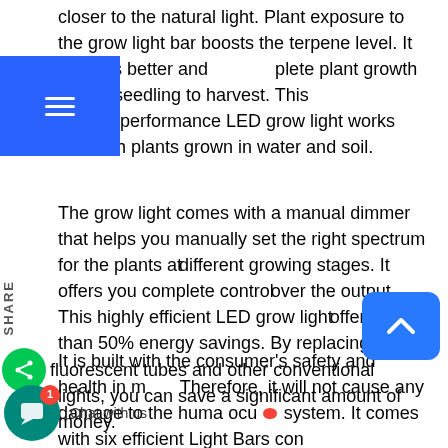closer to the natural light. Plant exposure to the grow light bar boosts the terpene level. It ensures better and complete plant growth – from seedling to harvest. This high performance LED grow light works well with plants grown in water and soil.
The grow light comes with a manual dimmer that helps you manually set the right spectrum for the plants at different growing stages. It offers you complete control over the output. This highly efficient LED grow light offers more than 50% energy savings. By replacing your fluorescent tubes and other conventional lights, you can save a significant amount of money.
It is built with the consumer's safety and health in mind. Therefore, it will not cause any damage to the human ocular system. It comes with six efficient Light Bars consisting of LEDs that offer even and wide coverage to benefit your plants from anywhere.
[Figure (screenshot): Blue hamburger menu overlay in top-left corner of mobile browser]
[Figure (screenshot): SHARE vertical label and green share icon button on left side of page]
[Figure (screenshot): Blue back-to-top arrow button in bottom-right corner]
[Figure (screenshot): Chat with us widget in the bottom-left corner with teal chat icon and red badge showing 1 notification]